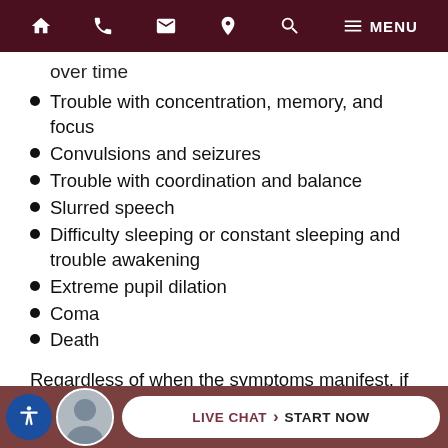Navigation bar with home, phone, email, location, search, and MENU icons
over time
Trouble with concentration, memory, and focus
Convulsions and seizures
Trouble with coordination and balance
Slurred speech
Difficulty sleeping or constant sleeping and trouble awakening
Extreme pupil dilation
Coma
Death
Regardless of when the symptoms manifest, if you have reason to suspect you suffered a TBI in an acci...